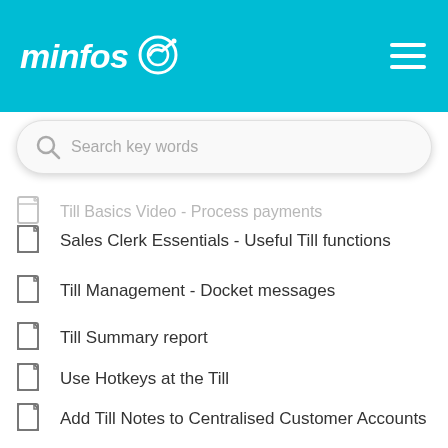[Figure (logo): Minfos logo with stylized checkmark target icon on teal/cyan header background]
Till Basics Video - Process payments (partially visible, faded)
Sales Clerk Essentials - Useful Till functions
Till Management - Docket messages
Till Summary report
Use Hotkeys at the Till
Add Till Notes to Centralised Customer Accounts
View Loyalty on Till Summary report
New! Stock Management Essentials online training now available